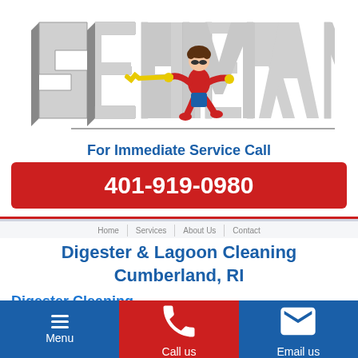[Figure (logo): Sewer Man logo: large 3D block letters 'SEWER MAN' in grey/silver with a cartoon man in red jumpsuit running through, holding a yellow tool]
For Immediate Service Call
401-919-0980
Digester & Lagoon Cleaning Cumberland, RI
Digester Cleaning
[Figure (photo): Partial view of outdoor scene with green vegetation/grass]
Menu | Call us | Email us